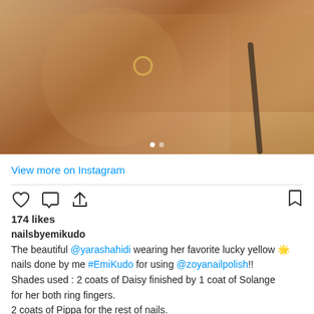[Figure (photo): Close-up photo of a person's hand near their neck/chest area, showing nails and jewelry including rings and bracelet, warm golden-toned lighting]
View more on Instagram
174 likes
nailsbyemikudo
The beautiful @yarashahidi wearing her favorite lucky yellow 🌟 nails done by me #EmiKudo for using @zoyanailpolish!! Shades used : 2 coats of Daisy finished by 1 coat of Solange for her both ring fingers.
2 coats of Pippa for the rest of nails.
Don't forget to use Naked Manicure Glossy Seal and Base for extra shine finish and long lasting effect.
Confident and positive energy are the keys to wear yellow nail polish successfully! 🌻🌻🌻🌻🌻🌻🌻 #YaraShahidi #whatabeauty #sunshinbeams #sunshine #light
#nickelodeon photo credit: @emilychengmakeup 😊